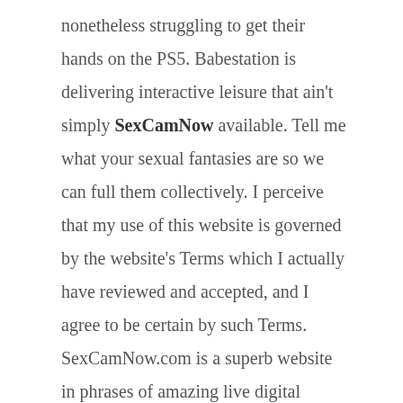nonetheless struggling to get their hands on the PS5. Babestation is delivering interactive leisure that ain't simply SexCamNow available. Tell me what your sexual fantasies are so we can full them collectively. I perceive that my use of this website is governed by the website's Terms which I actually have reviewed and accepted, and I agree to be certain by such Terms.

SexCamNow.com is a superb website in phrases of amazing live digital camera shows the place you'll be able to see the prettiest girls on the sexcam live market. They are simply marvelous, and there are so